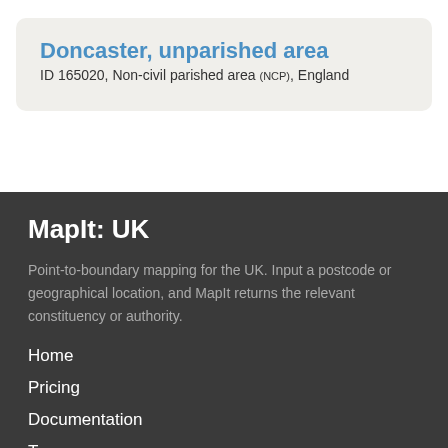Doncaster, unparished area
ID 165020, Non-civil parished area (NCP), England
MapIt: UK
Point-to-boundary mapping for the UK. Input a postcode or geographical location, and MapIt returns the relevant constituency or authority.
Home
Pricing
Documentation
Terms